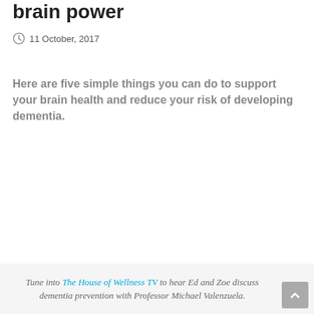brain power
11 October, 2017
Here are five simple things you can do to support your brain health and reduce your risk of developing dementia.
Tune into The House of Wellness TV to hear Ed and Zoe discuss dementia prevention with Professor Michael Valenzuela.